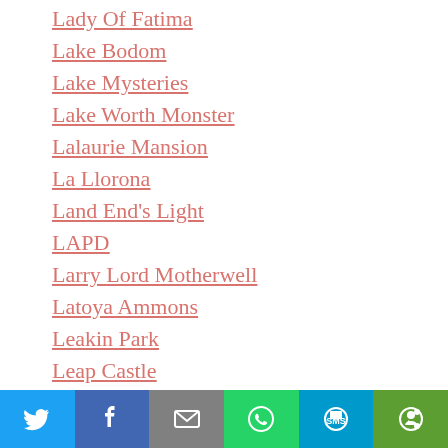Lady Of Fatima
Lake Bodom
Lake Mysteries
Lake Worth Monster
Lalaurie Mansion
La Llorona
Land End's Light
LAPD
Larry Lord Motherwell
Latoya Ammons
Leakin Park
Leap Castle
Lecumberri Prison
Legend Tripping
Lemuel Smith
Leper Colony
Leri Hoyd (partial)
[Figure (infographic): Social sharing bar with icons for Twitter, Facebook, Email, WhatsApp, SMS, and More]